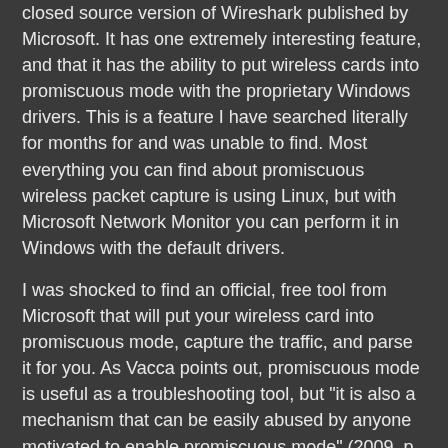closed source version of Wireshark published by Microsoft. It has one extremely interesting feature, and that it has the ability to put wireless cards into promiscuous mode with the proprietary Windows drivers. This is a feature I have searched literally for months for and was unable to find. Most everything you can find about promiscuous wireless packet capture is using Linux, but with Microsoft Network Monitor you can perform it in Windows with the default drivers.
I was shocked to find an official, free tool from Microsoft that will put your wireless card into promiscuous mode, capture the traffic, and parse it for you. As Vacca points out, promiscuous mode is useful as a troubleshooting tool, but "it is also a mechanism that can be easily abused by anyone motivated to enable promiscuous mode" (2009, p. 102).
MSDN. (2012) Network Monitor and Parsers. Retrieved from http://msdn.microsoft.com/en-us/openspecifications/cc816059
Vacca, J. R. (2009). Computer and Information Security Handbook. Burlington, MA: Morgan Kaufmann.